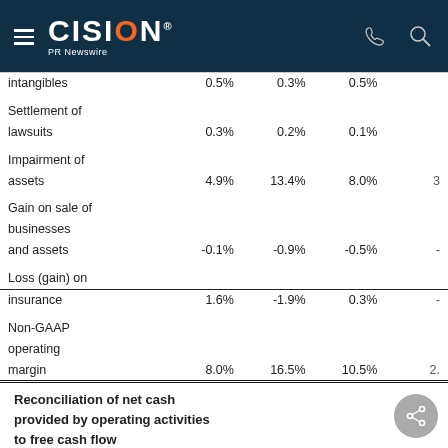CISION PR Newswire
|  | Col1 | Col2 | Col3 | Col4 |
| --- | --- | --- | --- | --- |
| intangibles | 0.5% | 0.3% | 0.5% |  |
| Settlement of lawsuits | 0.3% | 0.2% | 0.1% |  |
| Impairment of assets | 4.9% | 13.4% | 8.0% |  |
| Gain on sale of businesses and assets | -0.1% | -0.9% | -0.5% | - |
| Loss (gain) on insurance | 1.6% | -1.9% | 0.3% | - |
| Non-GAAP operating margin | 8.0% | 16.5% | 10.5% | 2. |
Reconciliation of net cash provided by operating activities to free cash flow
Net cash